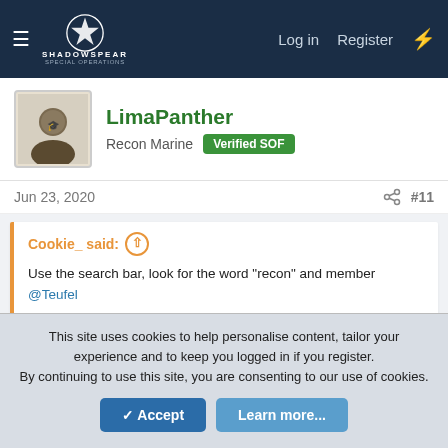ShadowSpear Special Operations — Log in  Register
LimaPanther
Recon Marine  Verified SOF
Jun 23, 2020  #11
Cookie_ said:
Use the search bar, look for the word "recon" and member @Teufel

Conversely, he might just pop back in to this thread since he was on your other one, but I bet you could find the info you're looking for throughout his posts.
Myself and Board and Seize, along with other Recon Marines on here, are also available.
This site uses cookies to help personalise content, tailor your experience and to keep you logged in if you register.
By continuing to use this site, you are consenting to our use of cookies.
Accept  Learn more...